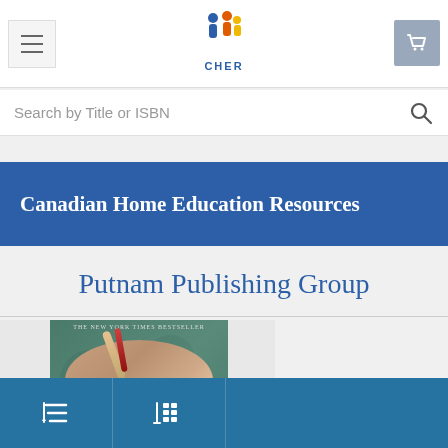CHER - Canadian Home Education Resources
Search by Title or ISBN
Canadian Home Education Resources
Putnam Publishing Group
[Figure (photo): Book cover showing a young woman wearing a decorative hat, with text 'THE NEW YORK TIMES BESTSELLER' at top]
Navigation toolbar with list/grid view icons